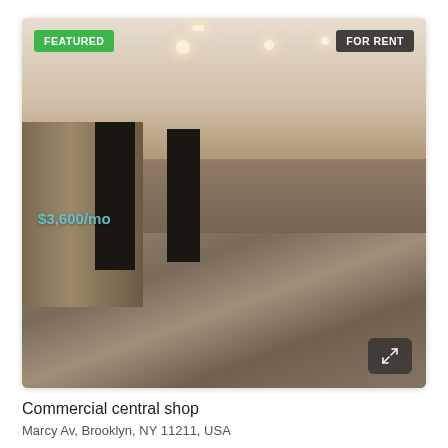[Figure (photo): Interior photo of a commercial lobby with marble floors, wood-paneled walls, dark elevator doors, and recessed ceiling lights. Price overlay '$3,600/mo' shown in teal. Green 'FEATURED' badge top-left, dark 'FOR RENT' badge top-right. Expand icon bottom-right.]
Commercial central shop
Marcy Av, Brooklyn, NY 11211, USA